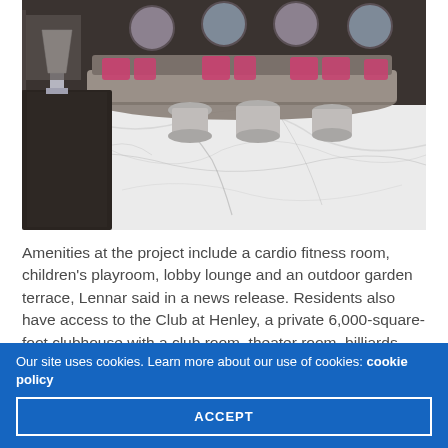[Figure (photo): Interior lobby lounge with curved gray velvet sofa seating, pink accent cushions, round silver side tables, marble floor, art panels on dark wall, and a lamp on a dark wood cabinet in the foreground.]
Amenities at the project include a cardio fitness room, children's playroom, lobby lounge and an outdoor garden terrace, Lennar said in a news release. Residents also have access to the Club at Henley, a private 6,000-square-foot clubhouse with a club room, theater room, billiards and gaming lounge and other features.
Our site uses cookies. Learn more about our use of cookies: cookie policy
ACCEPT